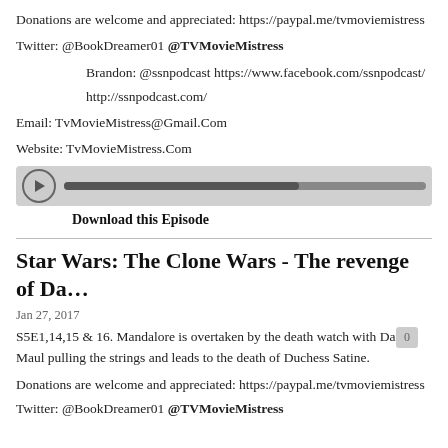Donations are welcome and appreciated: https://paypal.me/tvmoviemistress
Twitter: @BookDreamer01 @TVMovieMistress
Brandon: @ssnpodcast https://www.facebook.com/ssnpodcast/
http://ssnpodcast.com/
Email: TvMovieMistress@Gmail.Com
Website: TvMovieMistress.Com
[Figure (other): Audio player bar with play button and progress track]
Download this Episode
Star Wars: The Clone Wars - The revenge of Da…
Jan 27, 2017
S5E1,14,15 & 16. Mandalore is overtaken by the death watch with Darth Maul pulling the strings and leads to the death of Duchess Satine.
Donations are welcome and appreciated: https://paypal.me/tvmoviemistress
Twitter: @BookDreamer01 @TVMovieMistress